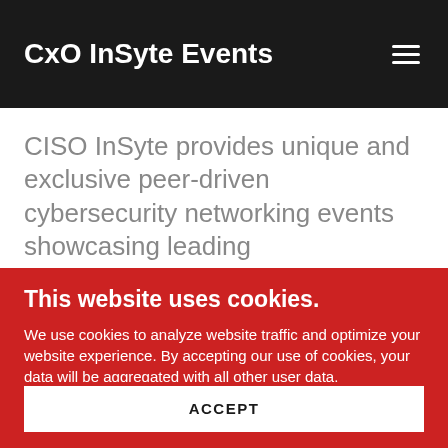CxO InSyte Events
CISO InSyte provides unique and exclusive peer-driven cybersecurity networking events showcasing leading
This website uses cookies.
We use cookies to analyze website traffic and optimize your website experience. By accepting our use of cookies, your data will be aggregated with all other user data.
ACCEPT